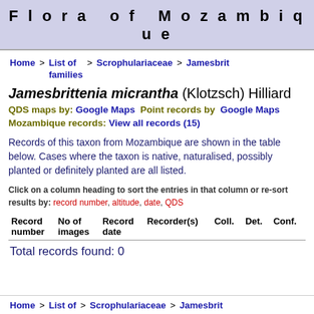Flora of Mozambique
Home > List of families > Scrophulariaceae > Jamesbrittenia
Jamesbrittenia micrantha (Klotzsch) Hilliard
QDS maps by: Google Maps  Point records by  Google Maps
Mozambique records: View all records (15)
Records of this taxon from Mozambique are shown in the table below. Cases where the taxon is native, naturalised, possibly planted or definitely planted are all listed.
Click on a column heading to sort the entries in that column or re-sort results by: record number, altitude, date, QDS
| Record number | No of images | Record date | Recorder(s) | Coll. | Det. | Conf. |
| --- | --- | --- | --- | --- | --- | --- |
Total records found: 0
Home > List of > Scrophulariaceae > Jamesbrit